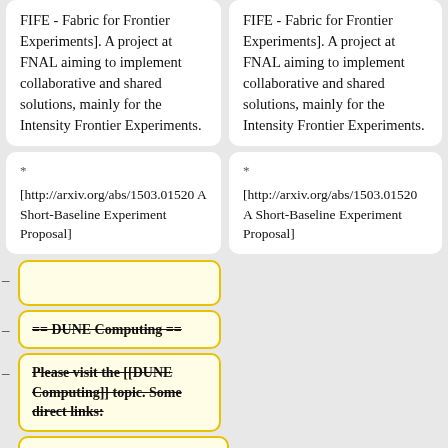FIFE - Fabric for Frontier Experiments]. A project at FNAL aiming to implement collaborative and shared solutions, mainly for the Intensity Frontier Experiments.
FIFE - Fabric for Frontier Experiments]. A project at FNAL aiming to implement collaborative and shared solutions, mainly for the Intensity Frontier Experiments.
* [http://arxiv.org/abs/1503.01520 A Short-Baseline Experiment Proposal]
* [http://arxiv.org/abs/1503.01520 A Short-Baseline Experiment Proposal]
– (empty diff line)
– == DUNE Computing ==
– Please visit the [[DUNE Computing]] topic. Some direct links:
– * [[LBNE_Geometry_Descriptio